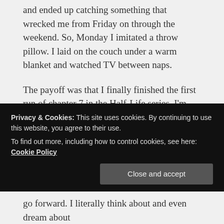and ended up catching something that wrecked me from Friday on through the weekend. So, Monday I imitated a throw pillow. I laid on the couch under a warm blanket and watched TV between naps.
The payoff was that I finally finished the first run of chapter 7 in the Half-Life series. I'm super proud of that because the chapter was emotionally loaded and writing that much emotion while already in a heightened state was impossible. Allowing myself to rest, not making demands of myself, put me in a place where I was physically and mentally able to finish it.
go forward. I literally think about and even dream about
Privacy & Cookies: This site uses cookies. By continuing to use this website, you agree to their use.
To find out more, including how to control cookies, see here: Cookie Policy
Close and accept